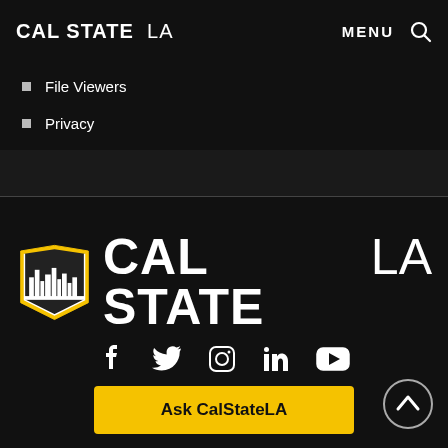CAL STATE LA  MENU
File Viewers
Privacy
[Figure (logo): Cal State LA shield logo with cityscape and text CAL STATE LA in large white letters]
[Figure (infographic): Social media icons row: Facebook, Twitter, Instagram, LinkedIn, YouTube]
Ask CalStateLA